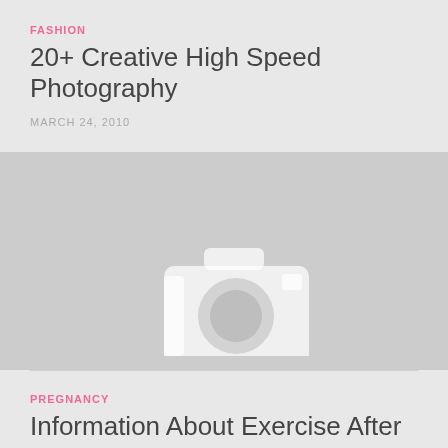FASHION
20+ Creative High Speed Photography
MARCH 24, 2010
[Figure (photo): Placeholder image with camera icon on grey background]
PREGNANCY
Information About Exercise After Baby
NOVEMBER 24, 2010